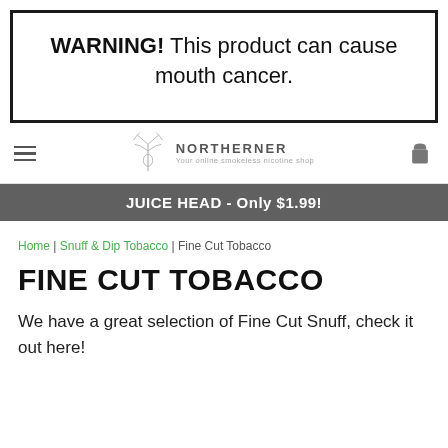WARNING! This product can cause mouth cancer.
[Figure (logo): Northerner logo with antler icon and tagline 'Your online smokeless nicotine shop']
JUICE HEAD - Only $1.99!
Home | Snuff & Dip Tobacco | Fine Cut Tobacco
FINE CUT TOBACCO
We have a great selection of Fine Cut Snuff, check it out here!